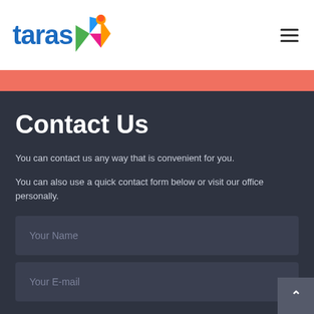[Figure (logo): Taras logo with colorful geometric bird/arrow shape in blue, pink, orange, and green]
[Figure (other): Hamburger menu icon (three horizontal lines)]
Contact Us
You can contact us any way that is convenient for you.
You can also use a quick contact form below or visit our office personally.
Your Name
Your E-mail